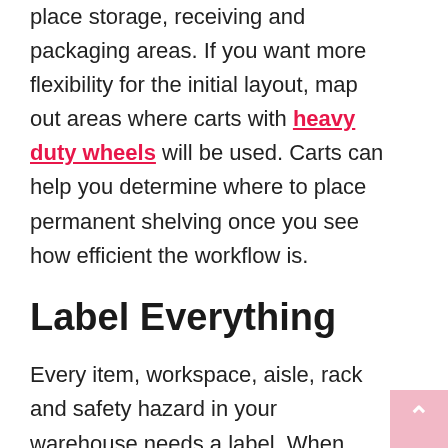for your product lines to determine where to place storage, receiving and packaging areas. If you want more flexibility for the initial layout, map out areas where carts with heavy duty wheels will be used. Carts can help you determine where to place permanent shelving once you see how efficient the workflow is.
Label Everything
Every item, workspace, aisle, rack and safety hazard in your warehouse needs a label. When your employees know exactly where everything belongs, they can quickly pick and place items in their proper spaces. Highly visible safety signs will decrease the number of employee injuries.